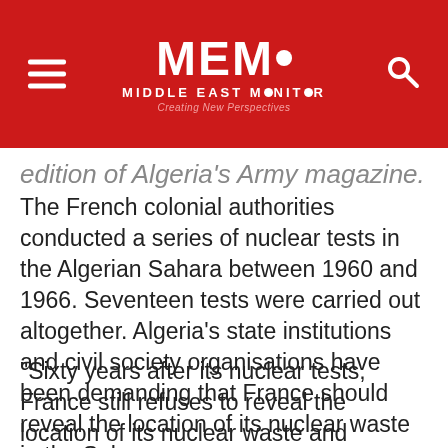[Figure (logo): MEMO Middle East Monitor logo with red background, hamburger menu icon on left, search icon on right]
edition of Algeria's Army magazine.
The French colonial authorities conducted a series of nuclear tests in the Algerian Sahara between 1960 and 1966. Seventeen tests were carried out altogether. Algeria's state institutions and civil society organisations have been demanding that France should reveal the location of its nuclear waste in the Sahara.
"Sixty years after its nuclear tests, France still refuses to reveal the location of its nuclear waste and compensate the victims of disease caused by radiation," said the magazine.